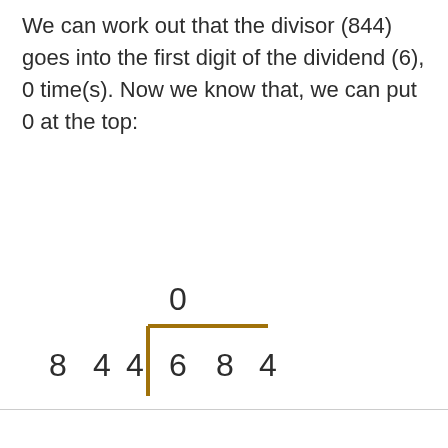We can work out that the divisor (844) goes into the first digit of the dividend (6), 0 time(s). Now we know that, we can put 0 at the top:
[Figure (math-figure): Long division diagram showing 844 dividing 684 with quotient 0 at the top. A vertical bar separates the divisor from the dividend, and a horizontal bar runs above the dividend.]